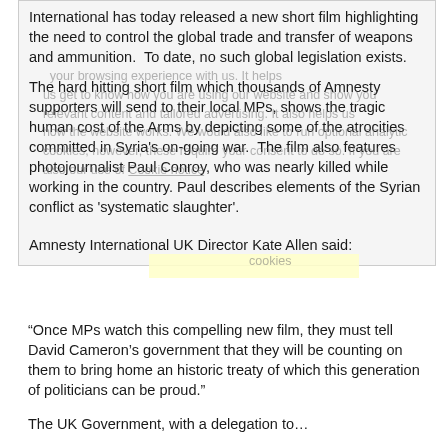International has today released a new short film highlighting the need to control the global trade and transfer of weapons and ammunition.  To date, no such global legislation exists.
The hard hitting short film which thousands of Amnesty supporters will send to their local MPs, shows the tragic human cost of the Arms by depicting some of the atrocities committed in Syria's on-going war.  The film also features photojournalist Paul Conroy, who was nearly killed while working in the country. Paul describes elements of the Syrian conflict as 'systematic slaughter'.
Amnesty International UK Director Kate Allen said:
“Once MPs watch this compelling new film, they must tell David Cameron’s government that they will be counting on them to bring home an historic treaty of which this generation of politicians can be proud.”
The UK Government, with a delegation to...